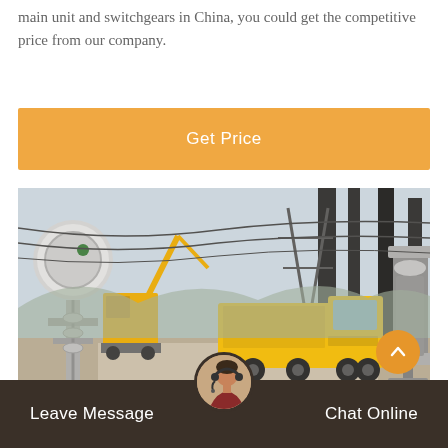main unit and switchgears in China, you could get the competitive price from our company.
[Figure (other): Orange 'Get Price' button banner]
[Figure (photo): Electrical substation with yellow service trucks (Isuzu) and high-voltage equipment, workers on site in China]
Leave Message   Chat Online